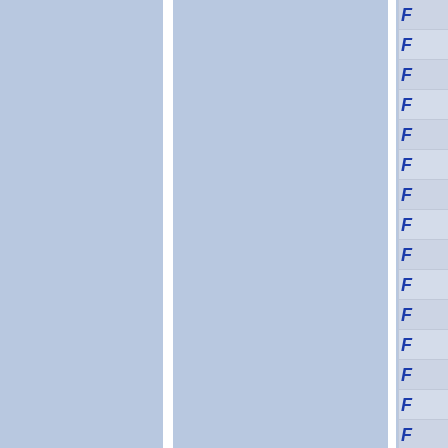[Figure (other): Page layout showing two large light blue-gray panels separated by a white vertical divider, with a right sidebar containing rows each showing a blue italic letter F, separated by light horizontal lines on a slightly lighter blue-gray background.]